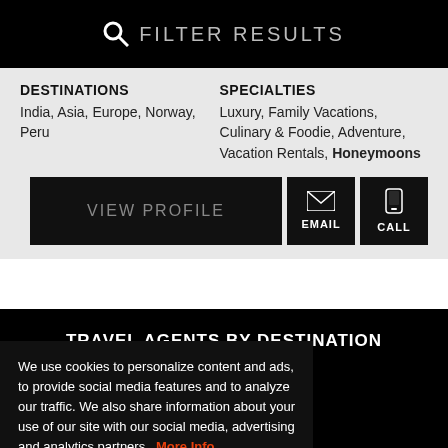FILTER RESULTS
DESTINATIONS
India, Asia, Europe, Norway, Peru
SPECIALTIES
Luxury, Family Vacations, Culinary & Foodie, Adventure, Vacation Rentals, Honeymoons
VIEW PROFILE
EMAIL
CALL
TRAVEL AGENTS BY DESTINATION EXPERTISE
We use cookies to personalize content and ads, to provide social media features and to analyze our traffic. We also share information about your use of our site with our social media, advertising and analytics partners. More Info.
Accept
Africa